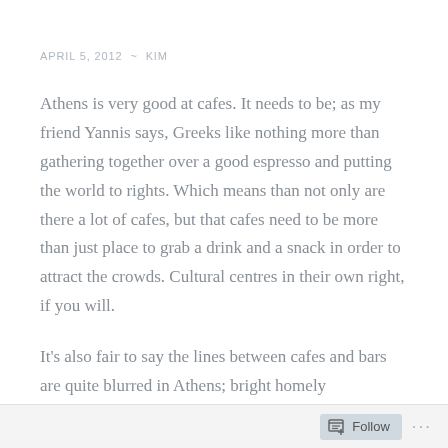APRIL 5, 2012  ~  KIM
Athens is very good at cafes. It needs to be; as my friend Yannis says, Greeks like nothing more than gathering together over a good espresso and putting the world to rights. Which means than not only are there a lot of cafes, but that cafes need to be more than just place to grab a drink and a snack in order to attract the crowds. Cultural centres in their own right, if you will.
It's also fair to say the lines between cafes and bars are quite blurred in Athens; bright homely
Follow  ...